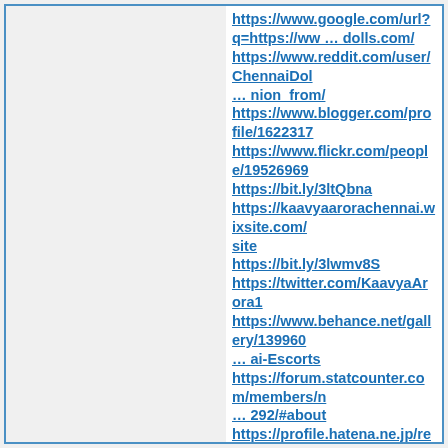https://www.google.com/url?q=https://ww … dolls.com/
https://www.reddit.com/user/ChennaiDol … nion_from/
https://www.blogger.com/profile/1622317
https://www.flickr.com/people/19526969
https://bit.ly/3ltQbna
https://kaavyaarorachennai.wixsite.com/ site
https://bit.ly/3lwmv8S
https://twitter.com/KaavyaArora1
https://www.behance.net/gallery/139960 … ai-Escorts
https://forum.statcounter.com/members/n … 292/#about
https://profile.hatena.ne.jp/rentescortdoll
https://plaza.rakuten.co.jp/kaavyachenn … 203220000/
https://rentescortdollschennai.bigcarte … ai-escorts
https://about.me/rentescortdolls
https://www.deviantart.com/kaavya2023
https://www.deviantart.com/kaavya2023/ … -910653786
https://www.provenexpert.com/rent-escort-dolls/
https://tool.365jz.com/alexa/rentescortdo
https://chennai-escorts-d89591.webflow.io/